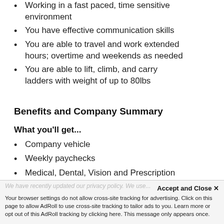Working in a fast paced, time sensitive environment
You have effective communication skills
You are able to travel and work extended hours; overtime and weekends as needed
You are able to lift, climb, and carry ladders with weight of up to 80lbs
Benefits and Company Summary
What you'll get...
Company vehicle
Weekly paychecks
Medical, Dental, Vision and Prescription Plans
Flexible Spending Accounts
We have recently updated our privacy policy. We use... Accept and Close ✕ Your browser settings do not allow cross-site tracking for advertising. Click on this page to allow AdRoll to use cross-site tracking to tailor ads to you. Learn more or opt out of this AdRoll tracking by clicking here. This message only appears once.